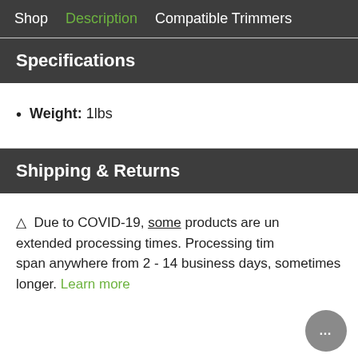Shop  Description  Compatible Trimmers
Specifications
Weight: 1lbs
Shipping & Returns
⚠ Due to COVID-19, some products are under extended processing times. Processing times can span anywhere from 2 - 14 business days, sometimes longer. Learn more